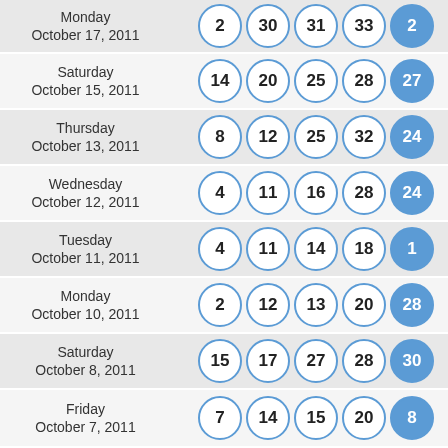| Date | Numbers |
| --- | --- |
| Monday October 17, 2011 | 2 30 31 33 | 2 |
| Saturday October 15, 2011 | 14 20 25 28 | 27 |
| Thursday October 13, 2011 | 8 12 25 32 | 24 |
| Wednesday October 12, 2011 | 4 11 16 28 | 24 |
| Tuesday October 11, 2011 | 4 11 14 18 | 1 |
| Monday October 10, 2011 | 2 12 13 20 | 28 |
| Saturday October 8, 2011 | 15 17 27 28 | 30 |
| Friday October 7, 2011 | 7 14 15 20 | 8 |